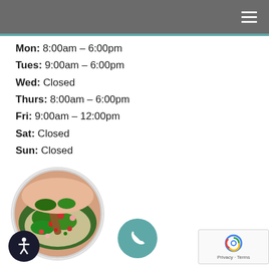Navigation bar
Mon: 8:00am – 6:00pm
Tues: 9:00am – 6:00pm
Wed: Closed
Thurs: 8:00am – 6:00pm
Fri: 9:00am – 12:00pm
Sat: Closed
Sun: Closed
[Figure (photo): Circular photo of a colorful salad with green herbs, red tomatoes and other vegetables being mixed in a bowl]
[Figure (other): Teal circular phone call button with white phone icon]
[Figure (other): reCAPTCHA widget with Google logo and Privacy/Terms text]